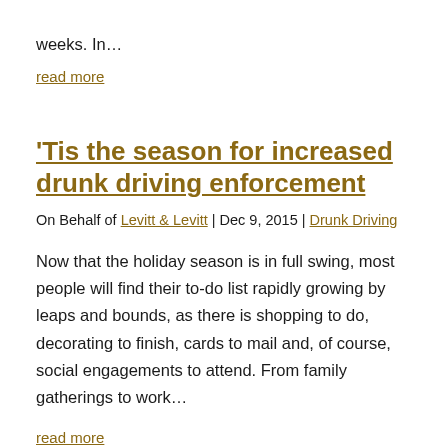weeks. In…
read more
'Tis the season for increased drunk driving enforcement
On Behalf of Levitt & Levitt | Dec 9, 2015 | Drunk Driving
Now that the holiday season is in full swing, most people will find their to-do list rapidly growing by leaps and bounds, as there is shopping to do, decorating to finish, cards to mail and, of course, social engagements to attend. From family gatherings to work…
read more